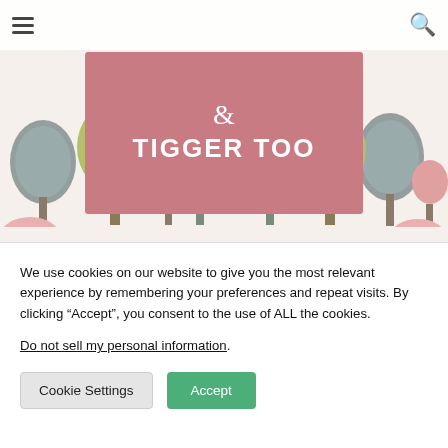[Figure (illustration): Book cover illustration for 'Roo Roo & Tigger Too' featuring a pink/rose-colored banner with the text '& TIGGER TOO' in white, surrounded by stylized colorful trees (grey, olive/yellow-green, pink, teal) on a light background.]
We use cookies on our website to give you the most relevant experience by remembering your preferences and repeat visits. By clicking “Accept”, you consent to the use of ALL the cookies.
Do not sell my personal information.
Cookie Settings
Accept